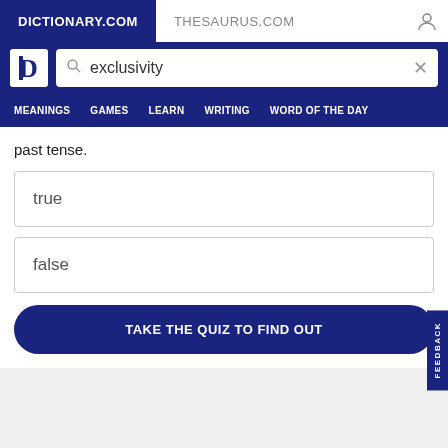DICTIONARY.COM | THESAURUS.COM
past tense.
true
false
TAKE THE QUIZ TO FIND OUT